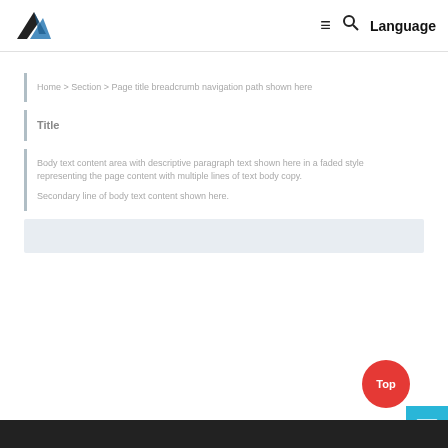Logo | ≡ 🔍 Language
Home > [breadcrumb navigation path shown faded]
Title
Body text paragraph with content description shown faded in the content block area with multiple lines of text.
[Figure (other): Light gray bar / banner area]
Dark footer bar with Top button and mail icon